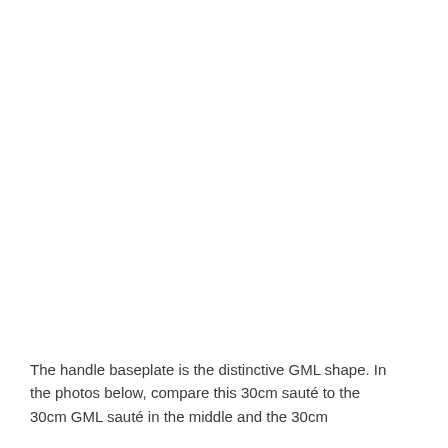[Figure (photo): A blank or white photo area at the top of the page, showing a product image (likely a sauté pan baseplate/handle area) that is not visible in this scan.]
The handle baseplate is the distinctive GML shape. In the photos below, compare this 30cm sauté to the 30cm GML sauté in the middle and the 30cm